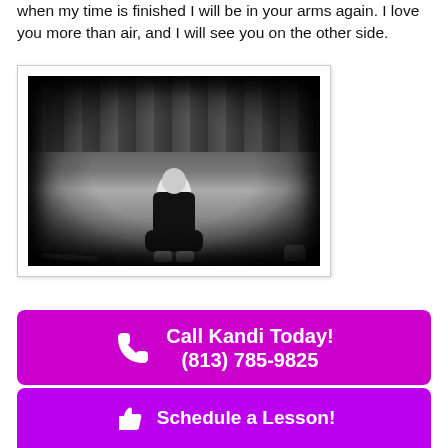when my time is finished I will be in your arms again. I love you more than air, and I will see you on the other side.
[Figure (photo): Black and white photograph of a young blonde girl sitting on the ground with a baseball bat and glove beside her, looking serious.]
Call Kandi Today! (813) 785-9825
Schedule a Lesson!